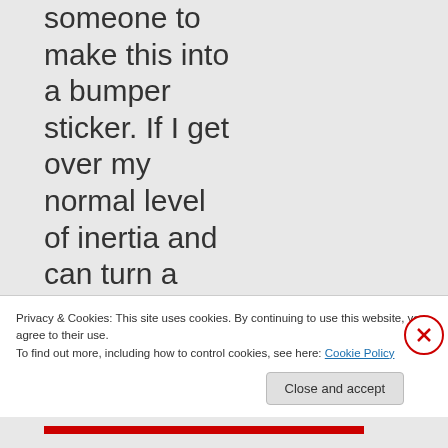someone to make this into a bumper sticker. If I get over my normal level of inertia and can turn a profit, I'll be glad to forward your
Privacy & Cookies: This site uses cookies. By continuing to use this website, you agree to their use.
To find out more, including how to control cookies, see here: Cookie Policy